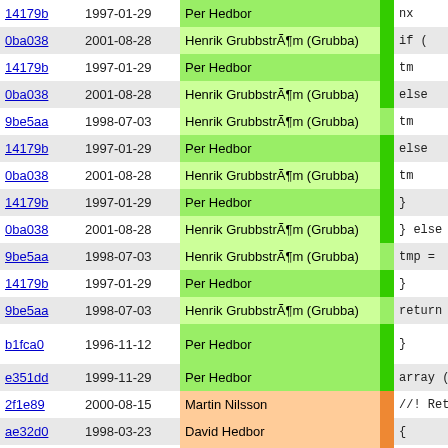| commit | date | author |  | code |
| --- | --- | --- | --- | --- |
| 14179b | 1997-01-29 | Per Hedbor |  | nx |
| 0ba038 | 2001-08-28 | Henrik GrubbstrÃ¶m (Grubba) |  | if ( |
| 14179b | 1997-01-29 | Per Hedbor |  | tm |
| 0ba038 | 2001-08-28 | Henrik GrubbstrÃ¶m (Grubba) |  | else |
| 9be5aa | 1998-07-03 | Henrik GrubbstrÃ¶m (Grubba) |  | tm |
| 14179b | 1997-01-29 | Per Hedbor |  | else |
| 0ba038 | 2001-08-28 | Henrik GrubbstrÃ¶m (Grubba) |  | tm |
| 14179b | 1997-01-29 | Per Hedbor |  | } |
| 0ba038 | 2001-08-28 | Henrik GrubbstrÃ¶m (Grubba) |  | } else i |
| 9be5aa | 1998-07-03 | Henrik GrubbstrÃ¶m (Grubba) |  | tmp = |
| 14179b | 1997-01-29 | Per Hedbor |  | } |
| 9be5aa | 1998-07-03 | Henrik GrubbstrÃ¶m (Grubba) |  | return t |
| b1fca0 | 1996-11-12 | Per Hedbor |  | } |
| e351dd | 1999-11-29 | Per Hedbor |  | array (Rox |
| 2f1e89 | 2000-08-15 | Martin Nilsson |  | //! Return |
| ae32d0 | 1998-03-23 | David Hedbor |  | { |
| 2f1e89 | 2000-08-15 | Martin Nilsson |  | // This |